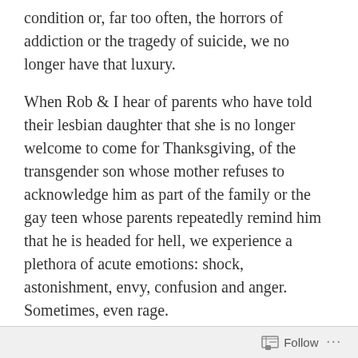condition or, far too often, the horrors of addiction or the tragedy of suicide, we no longer have that luxury.
When Rob & I hear of parents who have told their lesbian daughter that she is no longer welcome to come for Thanksgiving, of the transgender son whose mother refuses to acknowledge him as part of the family or the gay teen whose parents repeatedly remind him that he is headed for hell, we experience a plethora of acute emotions: shock, astonishment, envy, confusion and anger. Sometimes, even rage.
I have to be honest and say that if I had come across these words – my words – six or seven years ago, I would probably have felt defensive and upset. I might have stopped reading. But it would have been to my peril. Back
Follow